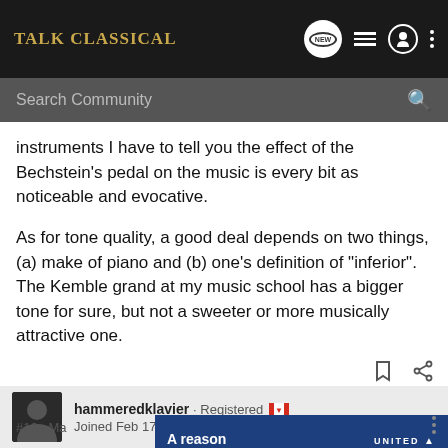Talk Classical — Search Community
instruments I have to tell you the effect of the Bechstein's pedal on the music is every bit as noticeable and evocative.

As for tone quality, a good deal depends on two things, (a) make of piano and (b) one's definition of "inferior". The Kemble grand at my music school has a bigger tone for sure, but not a sweeter or more musically attractive one.
hammeredklavier · Registered
Joined Feb 17, 2018 · 7,050 Posts
[Figure (screenshot): United MileagePlus advertisement banner: 'A reason to start planning' with United MileagePlus logo]
#16 · Ma